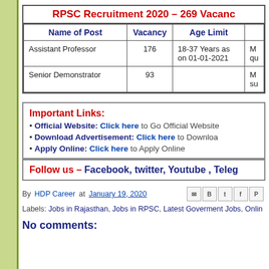| Name of Post | Vacancy | Age Limit |  |
| --- | --- | --- | --- |
| Assistant Professor | 176 | 18-37 Years as on 01-01-2021 | M qu |
| Senior Demonstrator | 93 |  | M su |
Important Links:
Official Website: Click here to Go Official Website
Download Advertisement: Click here to Download
Apply Online: Click here to Apply Online
Follow us – Facebook, twitter, Youtube , Teleg
By HDP Career at January 19, 2020
Labels: Jobs in Rajasthan, Jobs in RPSC, Latest Goverment Jobs, Onlin
No comments: